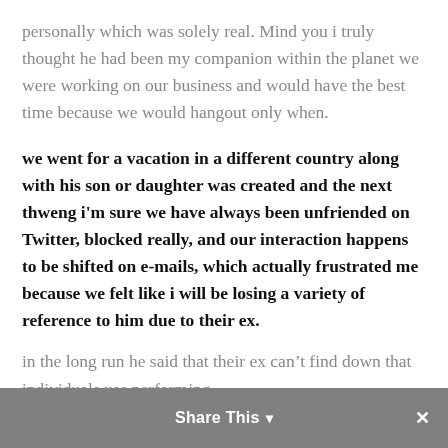personally which was solely real. Mind you i truly thought he had been my companion within the planet we were working on our business and would have the best time because we would hangout only when.
we went for a vacation in a different country along with his son or daughter was created and the next thweng i'm sure we have always been unfriended on Twitter, blocked really, and our interaction happens to be shifted on e-mails, which actually frustrated me because we felt like i will be losing a variety of reference to him due to their ex.
in the long run he said that their ex can't find down that individuals use performing
Share This ▾  ✕